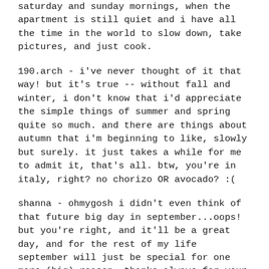saturday and sunday mornings, when the apartment is still quiet and i have all the time in the world to slow down, take pictures, and just cook.
190.arch - i've never thought of it that way! but it's true -- without fall and winter, i don't know that i'd appreciate the simple things of summer and spring quite so much. and there are things about autumn that i'm beginning to like, slowly but surely. it just takes a while for me to admit it, that's all. btw, you're in italy, right? no chorizo OR avocado? :(
shanna - ohmygosh i didn't even think of that future big day in september...oops! but you're right, and it'll be a great day, and for the rest of my life september will just be special for one more (big) reason. thanks always for your kind words and inspiration!
heather - i use chorizo a lot to get murdo to eat his veggies. :) i'm not the biggest chorizo fan, but for this dish, it adds such flavor that black beans alone get kind of bland.